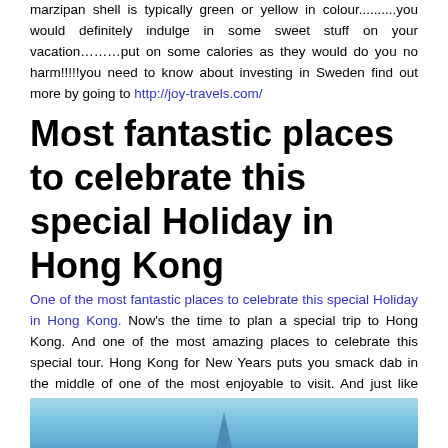marzipan shell is typically green or yellow in colour..........you would definitely indulge in some sweet stuff on your vacation………put on some calories as they would do you no harm!!!!!you need to know about investing in Sweden find out more by going to http://joy-travels.com/
Most fantastic places to celebrate this special Holiday in Hong Kong
One of the most fantastic places to celebrate this special Holiday in Hong Kong. Now's the time to plan a special trip to Hong Kong. And one of the most amazing places to celebrate this special tour. Hong Kong for New Years puts you smack dab in the middle of one of the most enjoyable to visit. And just like most holidays in other parts of the world.
[Figure (photo): Partial view of Hong Kong skyline or landmark building against a blue sky, showing a spire at the bottom of the image]